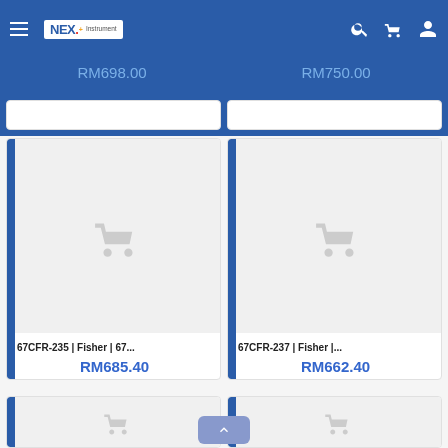NEX. Instrument — navigation header with search, cart, user icons
RM698.00 (partially visible, above fold)
RM750.00 (partially visible, above fold)
[Figure (screenshot): Product card for 67CFR-235 | Fisher | 67... showing placeholder cart image and price RM685.40]
67CFR-235 | Fisher | 67...
RM685.40
[Figure (screenshot): Product card for 67CFR-237 | Fisher |... showing placeholder cart image and price RM662.40]
67CFR-237 | Fisher |...
RM662.40
[Figure (screenshot): Two partially visible product cards at bottom of page]